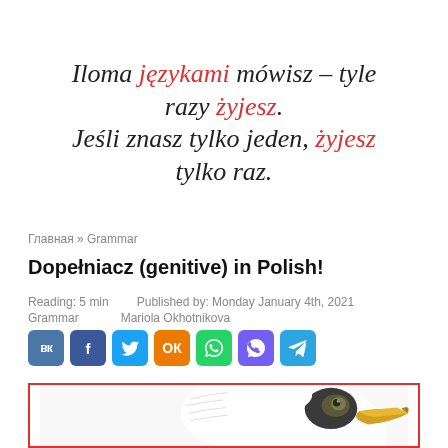Iloma językami mówisz – tyle razy żyjesz. Jeśli znasz tylko jeden, żyjesz tylko raz.
Главная » Grammar
Dopełniacz (genitive) in Polish!
Reading: 5 min   Published by: Monday January 4th, 2021
Grammar   Mariola Okhotnikova
[Figure (infographic): Social share buttons: VK, Facebook, Twitter, Odnoklassniki, WhatsApp, Viber, Telegram]
[Figure (illustration): Illustration of a bald eagle head (closeup, facing right) inside a red-bordered box]